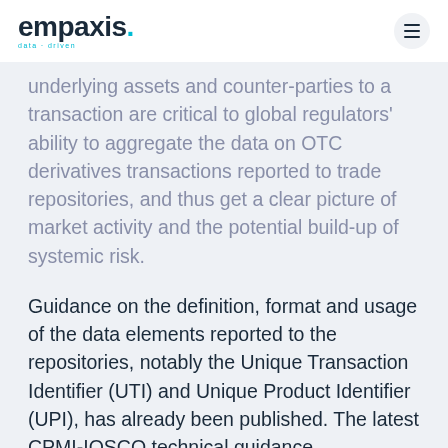empaxis. data·driven
underlying assets and counter-parties to a transaction are critical to global regulators' ability to aggregate the data on OTC derivatives transactions reported to trade repositories, and thus get a clear picture of market activity and the potential build-up of systemic risk.
Guidance on the definition, format and usage of the data elements reported to the repositories, notably the Unique Transaction Identifier (UTI) and Unique Product Identifier (UPI), has already been published. The latest CPMI-IOSCO technical guidance Harmonisation of critical OTC derivatives data elements (other than